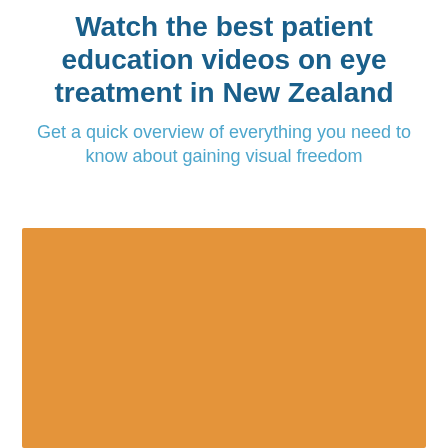Watch the best patient education videos on eye treatment in New Zealand
Get a quick overview of everything you need to know about gaining visual freedom
[Figure (photo): Orange/amber colored rectangular image placeholder, likely a video thumbnail for patient education content about eye treatment in New Zealand]